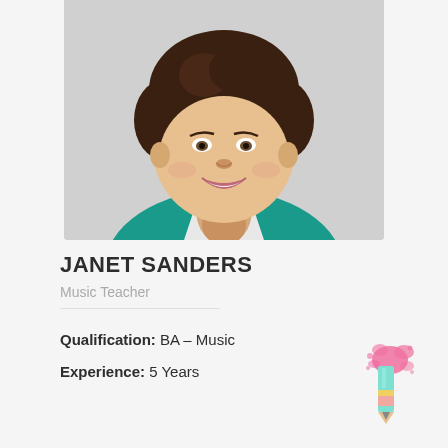[Figure (photo): Headshot photo of Janet Sanders, a woman with short curly brown hair, smiling, wearing a teal top, against a light gray background.]
JANET SANDERS
Music Teacher
Qualification: BA – Music
Experience: 5 Years
[Figure (illustration): A decorative pencil icon with pink paint splatter, colorful pencil in mint/yellow/pink colors.]